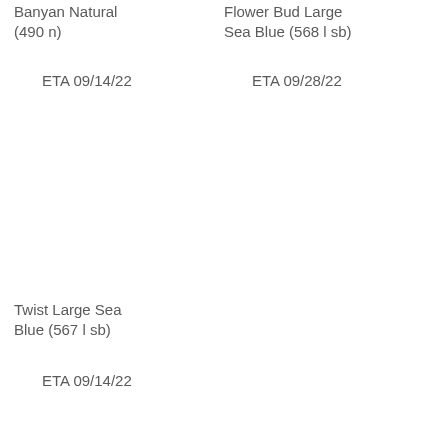Banyan Natural (490 n)
ETA 09/14/22
Flower Bud Large Sea Blue (568 l sb)
ETA 09/28/22
Twist Large Sea Blue (567 l sb)
ETA 09/14/22